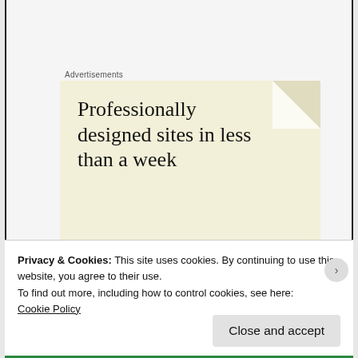Advertisements
[Figure (other): Advertisement banner with cream/beige background showing text 'Professionally designed sites in less than a week' with a decorative folded corner element]
You know very well that an illness which lingers
Privacy & Cookies: This site uses cookies. By continuing to use this website, you agree to their use.
To find out more, including how to control cookies, see here:
Cookie Policy
Close and accept